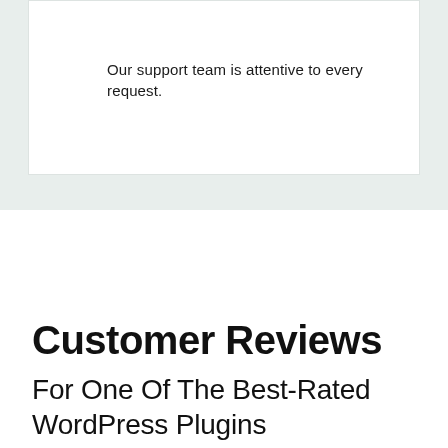Our support team is attentive to every request.
Customer Reviews
For One Of The Best-Rated WordPress Plugins